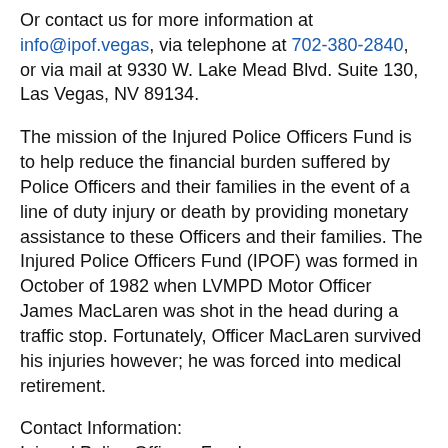Or contact us for more information at info@ipof.vegas, via telephone at 702-380-2840, or via mail at 9330 W. Lake Mead Blvd. Suite 130, Las Vegas, NV 89134.
The mission of the Injured Police Officers Fund is to help reduce the financial burden suffered by Police Officers and their families in the event of a line of duty injury or death by providing monetary assistance to these Officers and their families. The Injured Police Officers Fund (IPOF) was formed in October of 1982 when LVMPD Motor Officer James MacLaren was shot in the head during a traffic stop. Fortunately, Officer MacLaren survived his injuries however; he was forced into medical retirement.
Contact Information:
Injured Police Officers Fund
Minddie Lloyd